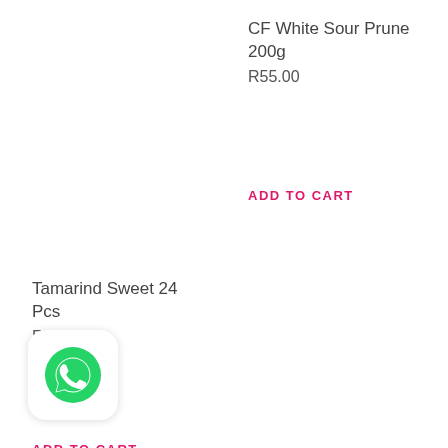CF White Sour Prune 200g
R55.00
ADD TO CART
Tamarind Sweet 24 Pcs
R70.00
ADD TO CART
[Figure (logo): WhatsApp icon button — green circle with white phone handset on white rounded-square background]